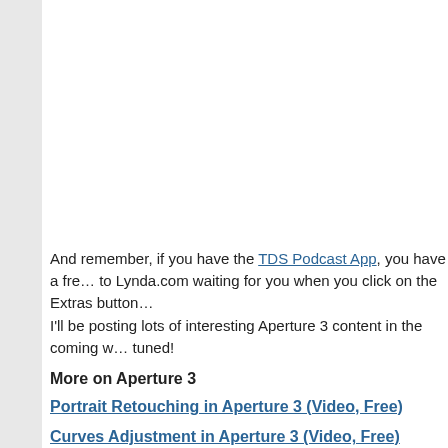And remember, if you have the TDS Podcast App, you have a free subscription to Lynda.com waiting for you when you click on the Extras button.
I'll be posting lots of interesting Aperture 3 content in the coming weeks. Stay tuned!
More on Aperture 3
Portrait Retouching in Aperture 3 (Video, Free)
Curves Adjustment in Aperture 3 (Video, Free)